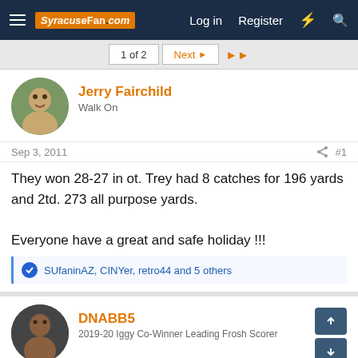SyracuseFan.com — Log in  Register
1 of 2  Next
Jerry Fairchild
Walk On
Sep 3, 2011  #1
They won 28-27 in ot. Trey had 8 catches for 196 yards and 2td. 273 all purpose yards.

Everyone have a great and safe holiday !!!
SUfaninAZ, CINYer, retro44 and 5 others
DNABB5
2019-20 Iggy Co-Winner Leading Frosh Scorer
Sep 3, 2011  #2